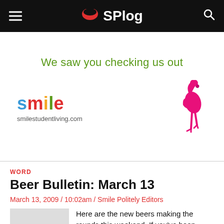SPlog
[Figure (illustration): Advertisement banner for smilestudentliving.com featuring the text 'We saw you checking us out', the smile logo in multicolor, the URL smilestudentliving.com, and a pink flamingo illustration]
WORD
Beer Bulletin: March 13
March 13, 2009 / 10:02am / Smile Politely Editors
Here are the new beers making the rounds this weekend. If you've been